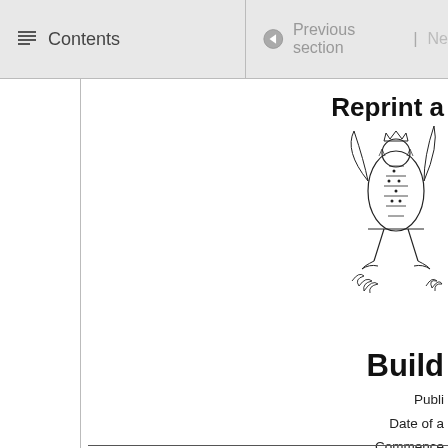Contents | Previous section | Ne
Reprint a
[Figure (illustration): New Zealand government crest/coat of arms illustration showing a heraldic figure]
Build
Publi
Date of a
Commence
Note
Changes authorised by subpart 2 of Part 2 of the Legislation Act 2012 h
Note 4 at the end of this reprint provides a list of the amendments incor
This Act is administered by the Ministry of Business, Innovation, an